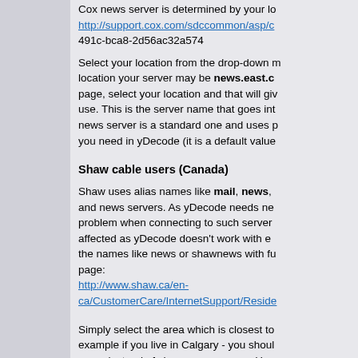Cox news server is determined by your location http://support.cox.com/sdccommon/asp/c... 491c-bca8-2d56ac32a574
Select your location from the drop-down menu. Depending on your location your server may be news.east.c... page, select your location and that will give you the server name to use. This is the server name that goes into yDecode. The Cox news server is a standard one and uses port 119 which is the port you need in yDecode (it is a default value...
Shaw cable users (Canada)
Shaw uses alias names like mail, news, ... and news servers. As yDecode needs news... problem when connecting to such server... affected as yDecode doesn't work with en... the names like news or shawnews with full... page: http://www.shaw.ca/en-ca/CustomerCare/InternetSupport/Reside...
Simply select the area which is closest to... example if you live in Calgary - you should... name instead of shawnews or news. Have... server names for shawmail so you have to...